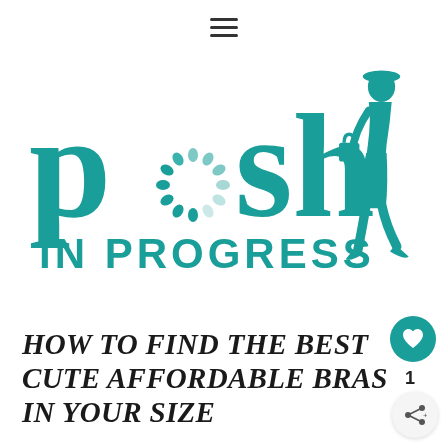[Figure (logo): Posh In Progress blog logo: teal lettering spelling 'posh IN PROGRESS' with decorative dot circle replacing the 'o' in posh, and a teal silhouette of a stylish woman with a handbag on the right]
HOW TO FIND THE BEST CUTE AFFORDABLE BRAS IN YOUR SIZE